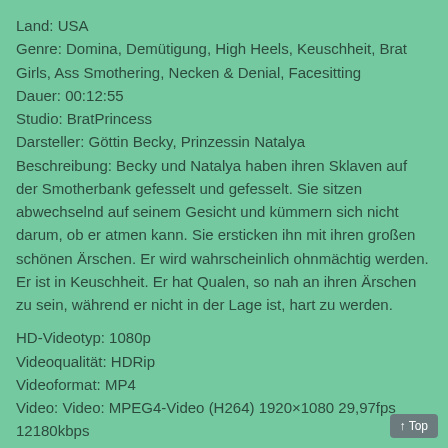Land: USA
Genre: Domina, Demütigung, High Heels, Keuschheit, Brat Girls, Ass Smothering, Necken & Denial, Facesitting
Dauer: 00:12:55
Studio: BratPrincess
Darsteller: Göttin Becky, Prinzessin Natalya
Beschreibung: Becky und Natalya haben ihren Sklaven auf der Smotherbank gefesselt und gefesselt. Sie sitzen abwechselnd auf seinem Gesicht und kümmern sich nicht darum, ob er atmen kann. Sie ersticken ihn mit ihren großen schönen Ärschen. Er wird wahrscheinlich ohnmächtig werden. Er ist in Keuschheit. Er hat Qualen, so nah an ihren Ärschen zu sein, während er nicht in der Lage ist, hart zu werden.
HD-Videotyp: 1080p
Videoqualität: HDRip
Videoformat: MP4
Video: Video: MPEG4-Video (H264) 1920×1080 29,97fps 12180kbps
Audio: Audio: AAC 44100Hz Stereo 193kbps